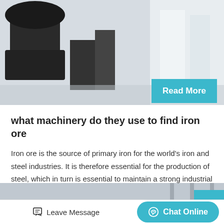[Figure (photo): Industrial machinery - jaw crusher or similar mining equipment, black metal parts on white structure, outdoor setting]
Read More
what machinery do they use to find iron ore
Iron ore is the source of primary iron for the world's iron and steel industries. It is therefore essential for the production of steel, which in turn is essential to maintain a strong industrial base. Almost all…
[Figure (photo): Large industrial cone crushers inside a factory/warehouse, multiple dark grey cylindrical crusher units]
Leave Message
Chat Online